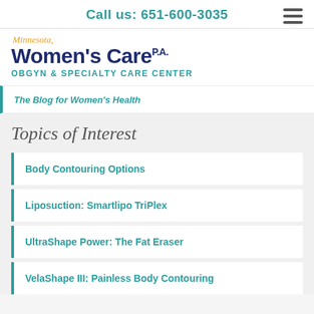Call us: 651-600-3035
[Figure (logo): Minnesota Women's Care P.A. OBGYN & Specialty Care Center logo]
The Blog for Women's Health
Topics of Interest
Body Contouring Options
Liposuction: Smartlipo TriPlex
UltraShape Power: The Fat Eraser
VelaShape III: Painless Body Contouring